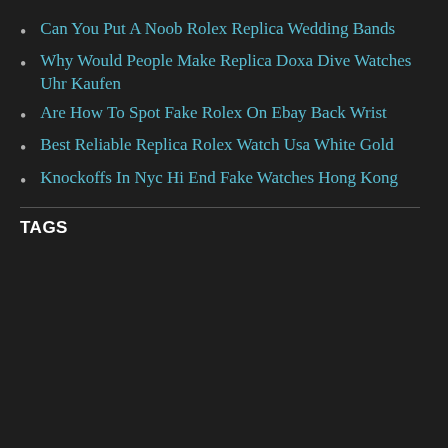Can You Put A Noob Rolex Replica Wedding Bands
Why Would People Make Replica Doxa Dive Watches Uhr Kaufen
Are How To Spot Fake Rolex On Ebay Back Wrist
Best Reliable Replica Rolex Watch Usa White Gold
Knockoffs In Nyc Hi End Fake Watches Hong Kong
TAGS